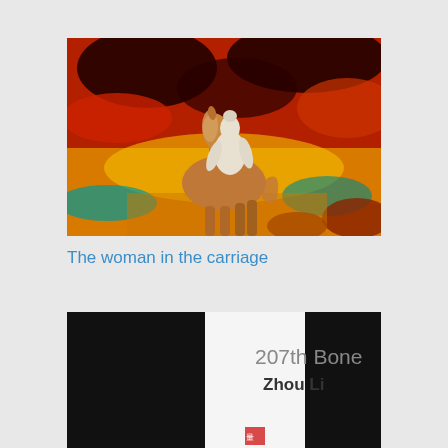[Figure (illustration): Painting of a white sculpted figure riding a horse against a dramatic swirling red, black, yellow, and teal background]
The woman in the carriage
[Figure (photo): Book cover of '207th Bone' by Zhou Li, white center panel with black flanking panels, small publisher logo at bottom]